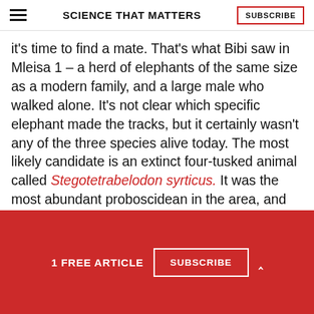SCIENCE THAT MATTERS | SUBSCRIBE
it's time to find a mate. That's what Bibi saw in Mleisa 1 – a herd of elephants of the same size as a modern family, and a large male who walked alone. It's not clear which specific elephant made the tracks, but it certainly wasn't any of the three species alive today. The most likely candidate is an extinct four-tusked animal called Stegotetrabelodon syrticus. It was the most abundant proboscidean in the area, and the most likely one to be found in open country.
1 FREE ARTICLE
SUBSCRIBE